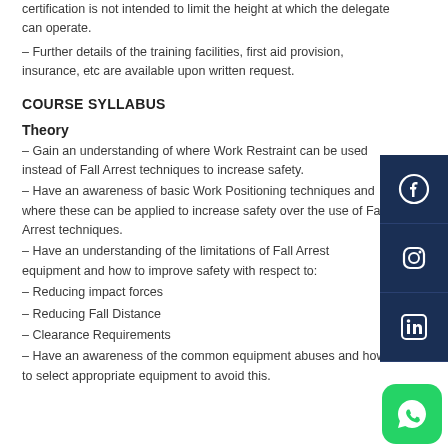certification is not intended to limit the height at which the delegate can operate.
– Further details of the training facilities, first aid provision, insurance, etc are available upon written request.
COURSE SYLLABUS
Theory
– Gain an understanding of where Work Restraint can be used instead of Fall Arrest techniques to increase safety.
– Have an awareness of basic Work Positioning techniques and where these can be applied to increase safety over the use of Fall Arrest techniques.
– Have an understanding of the limitations of Fall Arrest equipment and how to improve safety with respect to:
– Reducing impact forces
– Reducing Fall Distance
– Clearance Requirements
– Have an awareness of the common equipment abuses and how to select appropriate equipment to avoid this.